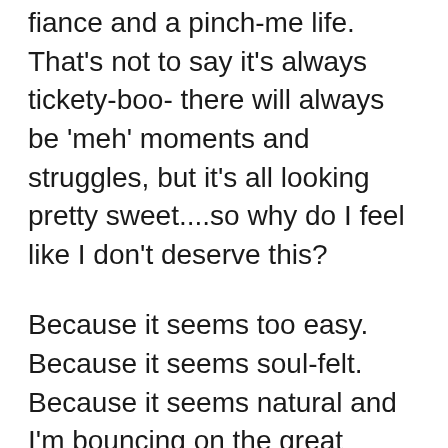fiance and a pinch-me life. That's not to say it's always tickety-boo- there will always be 'meh' moments and struggles, but it's all looking pretty sweet....so why do I feel like I don't deserve this?
Because it seems too easy. Because it seems soul-felt. Because it seems natural and I'm bouncing on the great trampoline of soul-work. Because things are working out and I'm not flippin' exhausted all the time. Because it doesn't seem like work. Because I'm beginning to trust in something greater than me. Because connecting with you all on this blog just feels so amazing and like such an gifted